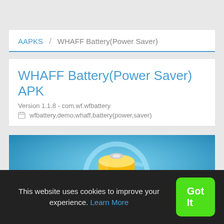AAPKS / WHAFF Battery(Power Saver)
WHAFF Battery(Power Saver) APK
Version 1.1.8 - com.wf.wfbattery
wfbattery,demo,whaff,battery(power,saver)
[Figure (screenshot): Blue gradient background with a yellow battery icon in 3D perspective with a light blue circular swoosh effect]
This website uses cookies to improve your experience. Learn More